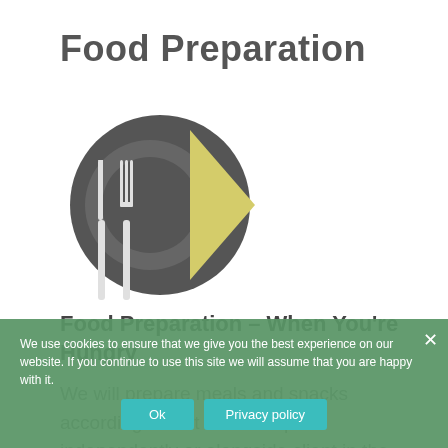Food Preparation
[Figure (illustration): Circular icon showing a plate with fork and knife on a dark grey circle background, with a yellow/olive triangular shape on the right side]
Food Preparation – When You're Hungry
We will prepare meals and snacks according to diet and care plan independently or alongside client in the kitchen. We can have caregivers cook and share their
We use cookies to ensure that we give you the best experience on our website. If you continue to use this site we will assume that you are happy with it.